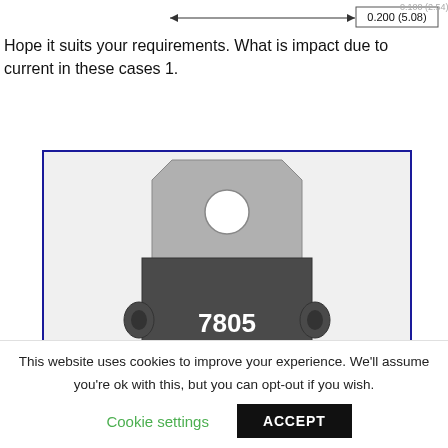[Figure (engineering-diagram): Partial dimension diagram at top showing a measurement annotation '0.200 (5.08)' with arrow lines, partial view of component pinout diagram cropped at top of page.]
Hope it suits your requirements. What is impact due to current in these cases 1.
[Figure (engineering-diagram): Illustration of a 7805 voltage regulator IC component. Top portion shows a light gray metal tab/heatsink with a mounting hole. Bottom portion shows a dark gray rectangular body labeled '7805' in white text, with two small ear/tab protrusions on either side at mid-body. The component is shown inside a blue-bordered box.]
This website uses cookies to improve your experience. We'll assume you're ok with this, but you can opt-out if you wish.
Cookie settings   ACCEPT